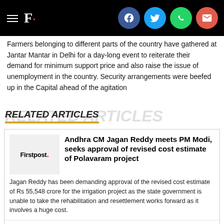Firstpost — navigation header with social share icons (Facebook, Twitter, WhatsApp, Email)
Farmers belonging to different parts of the country have gathered at Jantar Mantar in Delhi for a day-long event to reiterate their demand for minimum support price and also raise the issue of unemployment in the country. Security arrangements were beefed up in the Capital ahead of the agitation
RELATED ARTICLES
Andhra CM Jagan Reddy meets PM Modi, seeks approval of revised cost estimate of Polavaram project
Jagan Reddy has been demanding approval of the revised cost estimate of Rs 55,548 crore for the irrigation project as the state government is unable to take the rehabilitation and resettlement works forward as it involves a huge cost.
Will UPI payments now be charged?